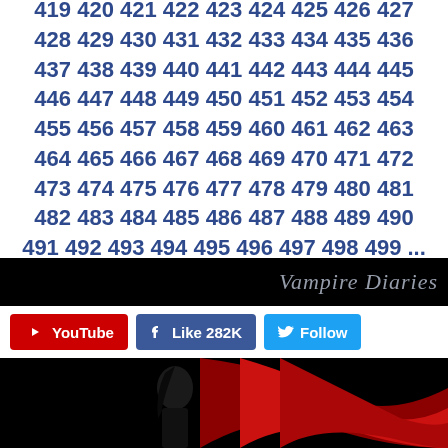419 420 421 422 423 424 425 426 427 428 429 430 431 432 433 434 435 436 437 438 439 440 441 442 443 444 445 446 447 448 449 450 451 452 453 454 455 456 457 458 459 460 461 462 463 464 465 466 467 468 469 470 471 472 473 474 475 476 477 478 479 480 481 482 483 484 485 486 487 488 489 490 491 492 493 494 495 496 497 498 499 ...
[Figure (screenshot): Vampire Diaries banner text on black background, partially cropped, showing italic text 'Vampire Diaries']
[Figure (screenshot): Social media buttons row: red YouTube button, blue Facebook Like 282K button, blue Twitter Follow button]
[Figure (photo): Dark promotional photo with a woman's silhouette against black background with dramatic red flowing fabric/ribbon on the right side]